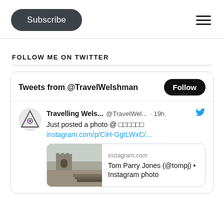[Figure (screenshot): Subscribe button (dark rounded pill) and hamburger menu icon in page header]
FOLLOW ME ON TWITTER
[Figure (screenshot): Twitter widget card showing: Tweets from @TravelWelshman with Follow button. Tweet by Travelling Wels... @TravelWel... 19h: 'Just posted a photo @ [boxes] instagram.com/p/CiH-GgtLWxC/...' with a preview card showing a castle/ruins photo, instagram.com domain, 'Tom Parry Jones (@tompj) • Instagram photo']